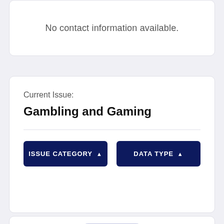No contact information available.
Current Issue:
Gambling and Gaming
ISSUE CATEGORY ▲
DATA TYPE ▲
08/27/2018